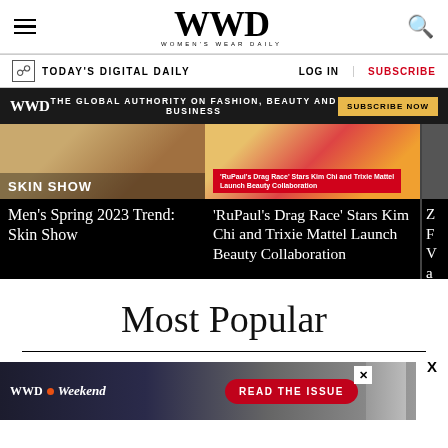WWD — WOMEN'S WEAR DAILY
TODAY'S DIGITAL DAILY | LOG IN | SUBSCRIBE
WWD — THE GLOBAL AUTHORITY ON FASHION, BEAUTY AND BUSINESS | SUBSCRIBE NOW
[Figure (screenshot): Carousel showing two article thumbnails: 'Men's Spring 2023 Trend: Skin Show' and 'RuPaul's Drag Race Stars Kim Chi and Trixie Mattel Launch Beauty Collaboration', on a black background]
Men's Spring 2023 Trend: Skin Show
'RuPaul's Drag Race' Stars Kim Chi and Trixie Mattel Launch Beauty Collaboration
Most Popular
[Figure (infographic): WWD Weekend advertisement banner reading 'READ THE ISSUE' with a red button and a photo of a person on the right]